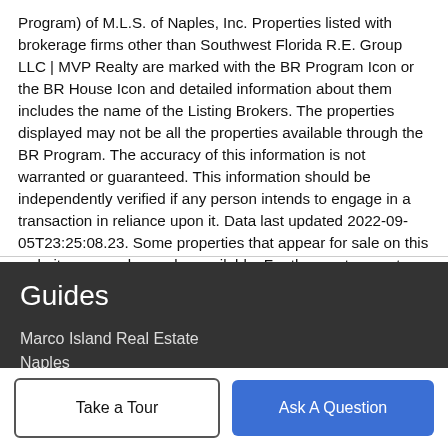Program) of M.L.S. of Naples, Inc. Properties listed with brokerage firms other than Southwest Florida R.E. Group LLC | MVP Realty are marked with the BR Program Icon or the BR House Icon and detailed information about them includes the name of the Listing Brokers. The properties displayed may not be all the properties available through the BR Program. The accuracy of this information is not warranted or guaranteed. This information should be independently verified if any person intends to engage in a transaction in reliance upon it. Data last updated 2022-09-05T23:25:08.23. Some properties that appear for sale on this website may no longer be available. For the most current information, contact Southwest Florida R.E. Group LLC | MVP Realty, 239-920-8452, . Licensed in the State of Florida.
Guides
Marco Island Real Estate
Naples